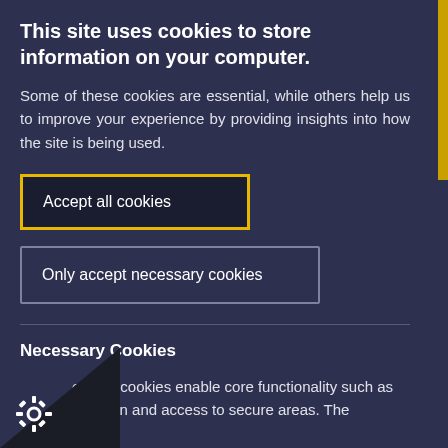This site uses cookies to store information on your computer.
Some of these cookies are essential, while others help us to improve your experience by providing insights into how the site is being used.
[Figure (other): Button: Accept all cookies with yellow border]
[Figure (other): Button: Only accept necessary cookies with gray border]
Necessary Cookies
essary cookies enable core functionality such as navigation and access to secure areas. The